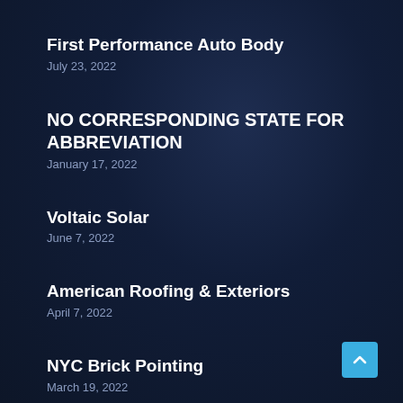First Performance Auto Body
July 23, 2022
NO CORRESPONDING STATE FOR ABBREVIATION
January 17, 2022
Voltaic Solar
June 7, 2022
American Roofing & Exteriors
April 7, 2022
NYC Brick Pointing
March 19, 2022